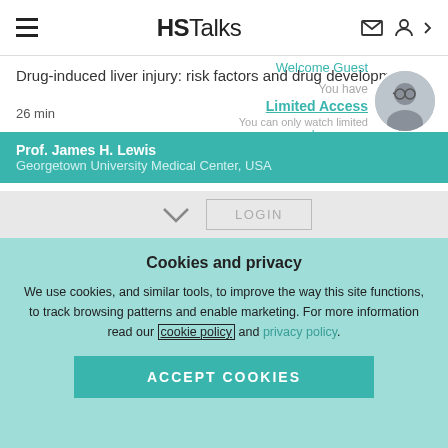HSTalks
Drug-induced liver injury: risk factors and drug developmen…
26 min
Welcome Guest
You have
Limited Access
You can only watch limited... Learn more
Prof. James H. Lewis
Georgetown University Medical Center, USA
LOGIN
Get Assistance
Cookies and privacy
We use cookies, and similar tools, to improve the way this site functions, to track browsing patterns and enable marketing. For more information read our cookie policy and privacy policy.
ACCEPT COOKIES